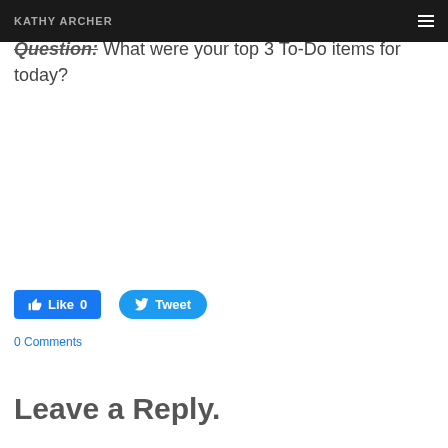KATHY ARCHER
Question: What were your top 3 To-Do items for today?
Like 0   Tweet
0 Comments
Leave a Reply.